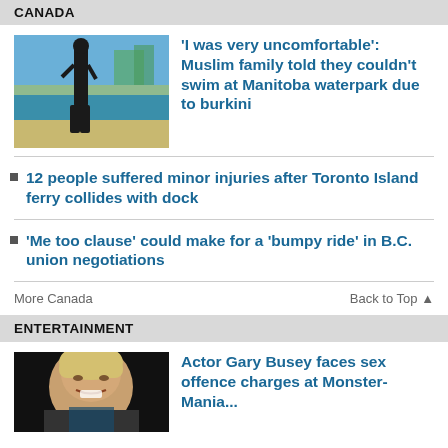CANADA
[Figure (photo): Person in black clothing standing at a waterpark/pool area with blue sky and trees in background]
'I was very uncomfortable': Muslim family told they couldn't swim at Manitoba waterpark due to burkini
12 people suffered minor injuries after Toronto Island ferry collides with dock
'Me too clause' could make for a 'bumpy ride' in B.C. union negotiations
More Canada
Back to Top ▲
ENTERTAINMENT
[Figure (photo): Actor Gary Busey, older man with blonde hair, at a dark background event]
Actor Gary Busey faces sex offence charges at Monster-Mania...